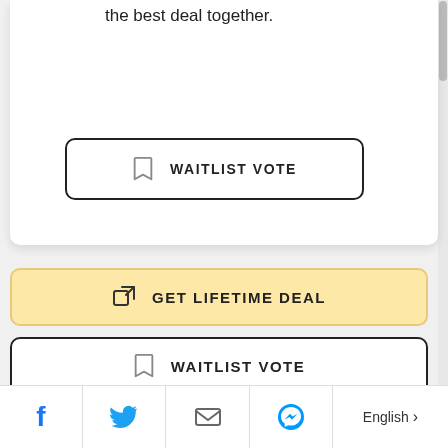the best deal together.
[Figure (screenshot): WAITLIST VOTE button with bookmark icon, rounded rectangle border, inside white card]
[Figure (screenshot): GET LIFETIME DEAL button with external link icon, yellow/amber background, rounded rectangle]
[Figure (screenshot): WAITLIST VOTE button with bookmark icon, white background, rounded rectangle border]
CATEGORIES
[Figure (screenshot): Bottom toolbar with Facebook, Twitter, Mail, Messenger icons and English language selector]